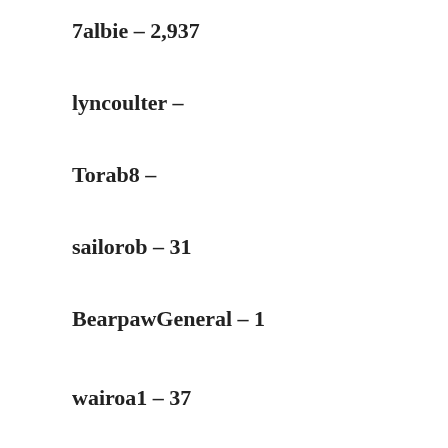7albie – 2,937
lyncoulter –
Torab8 –
sailorob –  31
BearpawGeneral – 1
wairoa1 – 37